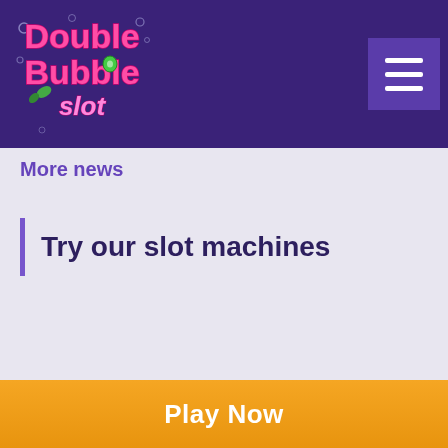[Figure (logo): Double Bubble Slot logo with colorful bubble-style text in pink and green on dark purple background, with hamburger menu icon in top right]
More news
Try our slot machines
Play Now